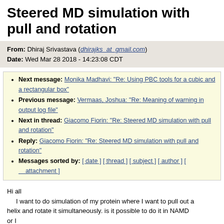Steered MD simulation with pull and rotation
From: Dhiraj Srivastava (dhirajks_at_gmail.com)
Date: Wed Mar 28 2018 - 14:23:08 CDT
Next message: Monika Madhavi: "Re: Using PBC tools for a cubic and a rectangular box"
Previous message: Vermaas, Joshua: "Re: Meaning of warning in output log file"
Next in thread: Giacomo Fiorin: "Re: Steered MD simulation with pull and rotation"
Reply: Giacomo Fiorin: "Re: Steered MD simulation with pull and rotation"
Messages sorted by: [ date ] [ thread ] [ subject ] [ author ] [ attachment ]
Hi all
    I want to do simulation of my protein where I want to pull out a
helix and rotate it simultaneously. is it possible to do it in NAMD or I